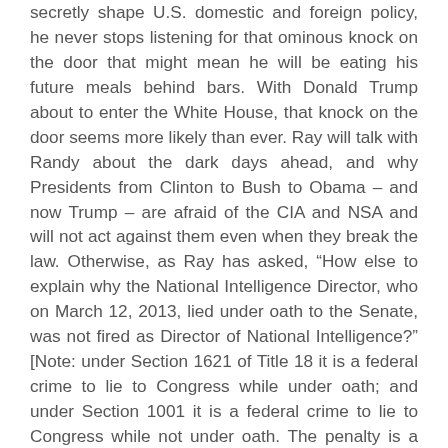secretly shape U.S. domestic and foreign policy, he never stops listening for that ominous knock on the door that might mean he will be eating his future meals behind bars. With Donald Trump about to enter the White House, that knock on the door seems more likely than ever. Ray will talk with Randy about the dark days ahead, and why Presidents from Clinton to Bush to Obama – and now Trump – are afraid of the CIA and NSA and will not act against them even when they break the law. Otherwise, as Ray has asked, “How else to explain why the National Intelligence Director, who on March 12, 2013, lied under oath to the Senate, was not fired as Director of National Intelligence?” [Note: under Section 1621 of Title 18 it is a federal crime to lie to Congress while under oath; and under Section 1001 it is a federal crime to lie to Congress while not under oath. The penalty is a fine of up to $100,000 and/or up to five years in jail.]